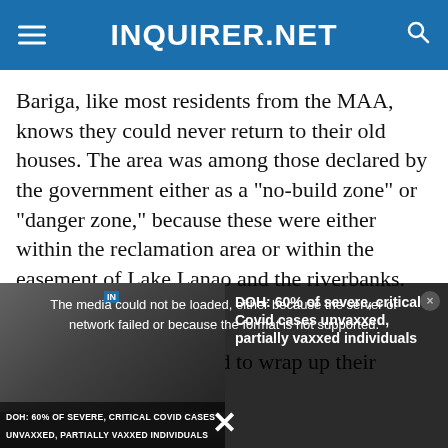INQUIRER.NET
Bariga, like most residents from the MAA, knows they could never return to their old houses. The area was among those declared by the government either as a “no-build zone” or “danger zone,” because these were either within the reclamation area or within the easement of Lake Lanao and the riverbanks.
Fear
As UN Habitat prepared to wrap up their project
[Figure (screenshot): Media player overlay showing error message: 'The media could not be loaded, either because the server or network failed or because the format is not supported.' Next to a thumbnail with text 'DOH: 60% of severe, critical Covid cases unvaxxed, partially vaxxed individuals' and a video overlay showing 'DOH: 60% OF SEVERE, CRITICAL COVID CASES UNVAXXED, PARTIALLY VAXXED INDIVIDUALS']